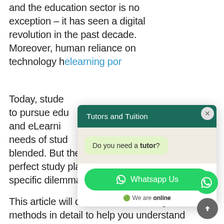and the education sector is no exception – it has seen a digital revolution in the past decade. Moreover, human reliance on technology h… elearning por…
Today, stude… to pursue edu… and eLearni… needs of stud… blended. But the choice of a perfect study plan creates a specific dilemma.
[Figure (screenshot): A WhatsApp-style popup widget titled 'Tutors and Tuition' with a chat bubble asking 'Do you need a tutor?', a green 'Whatsapp Us' button, and a green online status indicator. A close (X) button is in the top right. A floating green WhatsApp button and a grey scroll-to-top arrow button are also visible.]
This article will discuss both learning methods in detail to help you understand